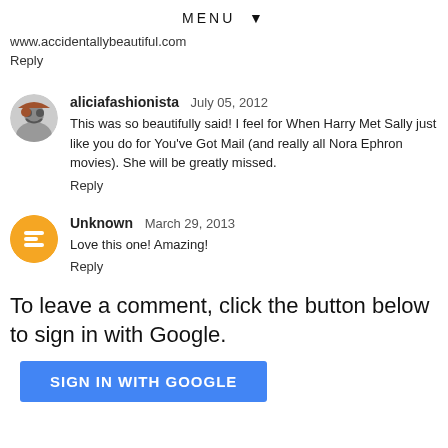MENU ▼
www.accidentallybeautiful.com
Reply
aliciafashionista  July 05, 2012
This was so beautifully said! I feel for When Harry Met Sally just like you do for You've Got Mail (and really all Nora Ephron movies). She will be greatly missed.
Reply
Unknown  March 29, 2013
Love this one! Amazing!
Reply
To leave a comment, click the button below to sign in with Google.
SIGN IN WITH GOOGLE